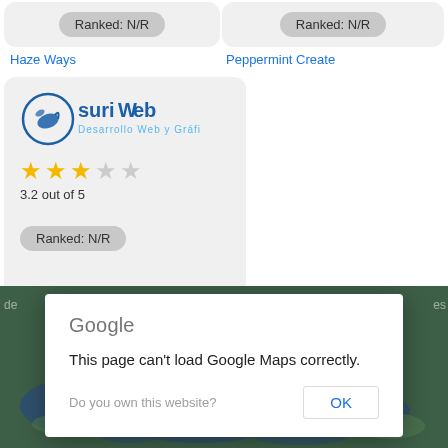Ranked: N/R
Haze Ways
Ranked: N/R
Peppermint Create
[Figure (logo): SuriWeb logo — Desarrollo Web y Gráfico, blue dolphin icon with blue text]
3.2 out of 5
Ranked: N/R
Suri Web
[Figure (screenshot): Google Maps error dialog: 'This page can't load Google Maps correctly.' with OK button and 'Do you own this website?' text, overlaid on a dark green map background]
This page can't load Google Maps correctly.
Do you own this website?
OK